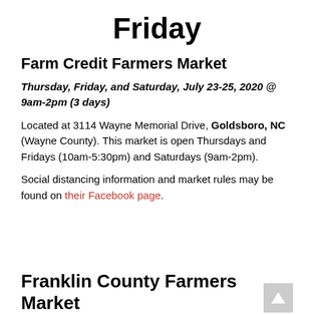Friday
Farm Credit Farmers Market
Thursday, Friday, and Saturday, July 23-25, 2020 @ 9am-2pm (3 days)
Located at 3114 Wayne Memorial Drive, Goldsboro, NC (Wayne County). This market is open Thursdays and Fridays (10am-5:30pm) and Saturdays (9am-2pm).
Social distancing information and market rules may be found on their Facebook page.
Franklin County Farmers Market